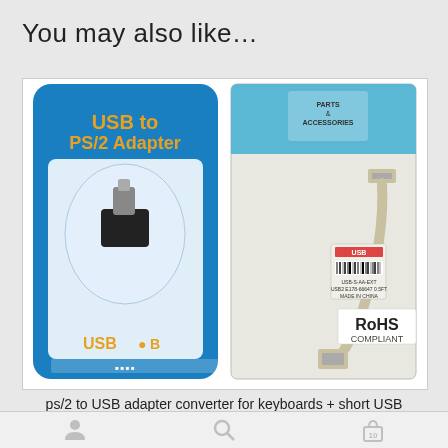You may also like…
[Figure (photo): Product photo showing a USB to PS/2 Adapter in blue retail packaging on the left, and a short USB extension cable in a clear plastic bag with RoHS Compliant label on the right]
ps/2 to USB adapter converter for keyboards + short USB